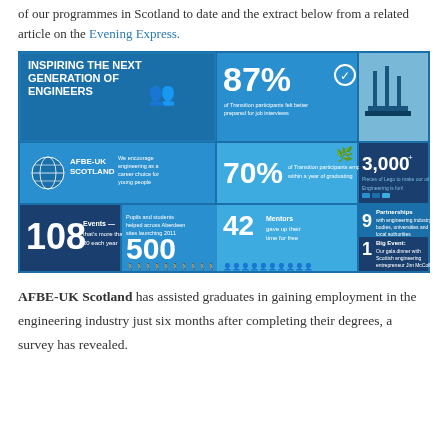of our programmes in Scotland to date and the extract below from a related article on the Evening Express.
[Figure (infographic): AFBE-UK Scotland infographic titled 'Inspiring the Next Generation of Engineers' showing key statistics: 87% of Transition participants felt better prepared for job interviews, 70% of Transition participants employed within a year of graduating, 3,000+ pieces of Lego to make our oil rigs - Engineering is fun!, 108 Events - that's more than 20 each year, 9 Partnerships with engineering industry bodies, universities and local authorities, 42 Mentors gave up their time for free, 500 Pupils and students helped across Aberdeen sites launching 2011, 1 Big Event: Our gala dinner with Scottish engineering entrepreneur Jim McColl.]
AFBE-UK Scotland has assisted graduates in gaining employment in the engineering industry just six months after completing their degrees, a survey has revealed.